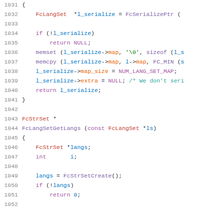Source code listing lines 1031-1052 of C source file with FcLangSet serialization and FcLangSetGetLangs function